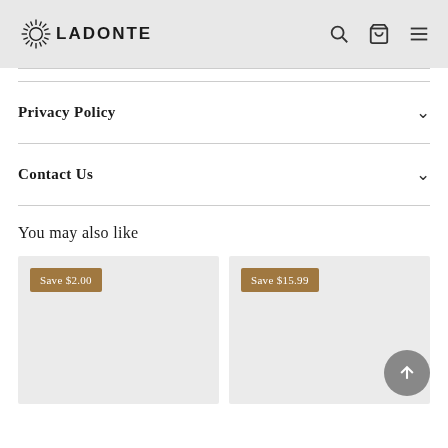LADONTE
Privacy Policy
Contact Us
You may also like
[Figure (other): Product card with Save $2.00 badge on grey background]
[Figure (other): Product card with Save $15.99 badge on grey background]